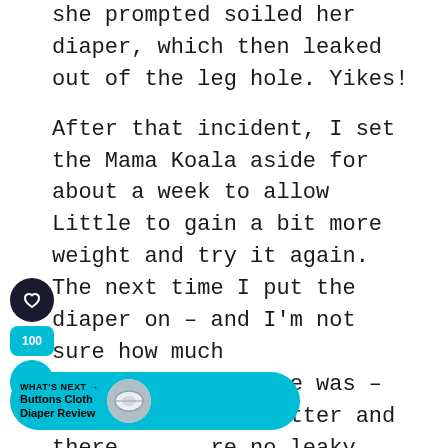she prompted soiled her diaper, which then leaked out of the leg hole. Yikes!
After that incident, I set the Mama Koala aside for about a week to allow Little to gain a bit more weight and try it again. The next time I put the diaper on – and I'm not sure how much bigger she was – it fit a little better and there were no leaky accidents.
[Figure (infographic): Social interaction buttons: heart/like button (dark circle), count badge showing 100 (teal), and share button (teal circle with share icon)]
[Figure (infographic): What's Next banner in teal: 'Buttons Cloth Diaper Review' with a thumbnail image of a cloth diaper]